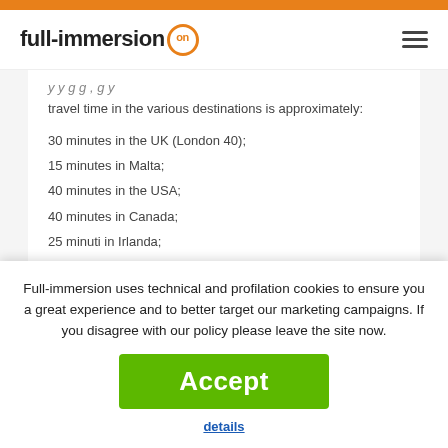full-immersion on
travel time in the various destinations is approximately:
30 minutes in the UK (London 40);
15 minutes in Malta;
40 minutes in the USA;
40 minutes in Canada;
25 minuti in Irlanda;
Full-immersion uses technical and profilation cookies to ensure you a great experience and to better target our marketing campaigns. If you disagree with our policy please leave the site now.
Accept
details